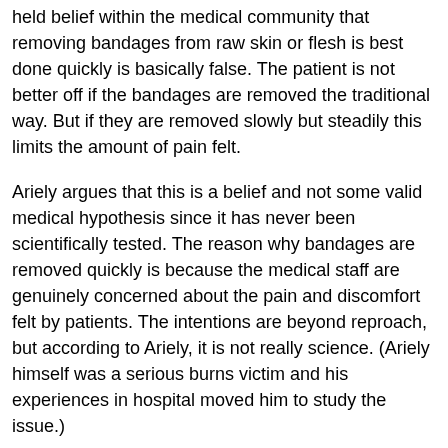held belief within the medical community that removing bandages from raw skin or flesh is best done quickly is basically false. The patient is not better off if the bandages are removed the traditional way. But if they are removed slowly but steadily this limits the amount of pain felt.
Ariely argues that this is a belief and not some valid medical hypothesis since it has never been scientifically tested. The reason why bandages are removed quickly is because the medical staff are genuinely concerned about the pain and discomfort felt by patients. The intentions are beyond reproach, but according to Ariely, it is not really science. (Ariely himself was a serious burns victim and his experiences in hospital moved him to study the issue.)